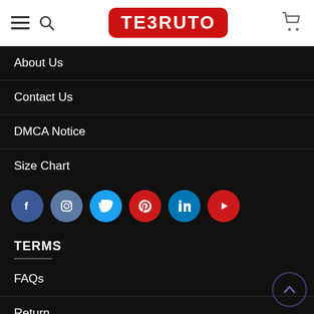TE3RUTO — navigation header with hamburger menu, search icon, logo, and cart icon
About Us
Contact Us
DMCA Notice
Size Chart
[Figure (infographic): Row of 6 social media icon circles: Facebook (blue), Instagram (steel blue), Twitter (light blue), Pinterest (red), LinkedIn (blue), YouTube (red)]
TERMS
FAQs
Return
Shipping